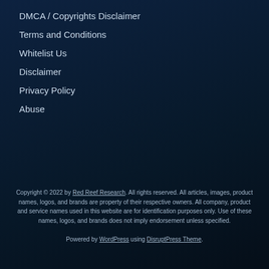DMCA / Copyrights Disclaimer
Terms and Conditions
Whitelist Us
Disclaimer
Privacy Policy
Abuse
Copyright © 2022 by Red Reef Research. All rights reserved. All articles, images, product names, logos, and brands are property of their respective owners. All company, product and service names used in this website are for identification purposes only. Use of these names, logos, and brands does not imply endorsement unless specified.
Powered by WordPress using DisruptPress Theme.